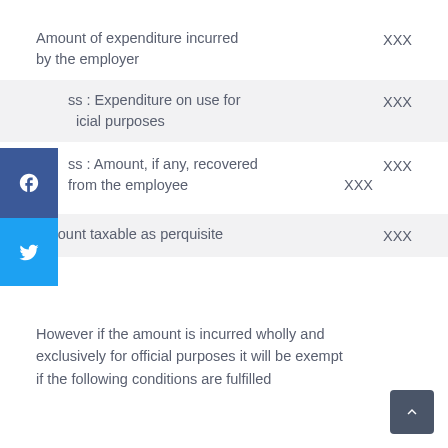| Description | Amount |
| --- | --- |
| Amount of expenditure incurred by the employer | XXX |
| Less : Expenditure on use for official purposes | XXX |
| Less : Amount, if any, recovered from the employee | XXX / XXX |
| Amount taxable as perquisite | XXX |
However if the amount is incurred wholly and exclusively for official purposes it will be exempt if the following conditions are fulfilled